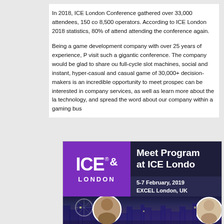In 2018, ICE London Conference gathered over 33,000 attendees, 150 co 8,500 operators. According to ICE London 2018 statistics, 80% of attend attending the conference again.
Being a game development company with over 25 years of experience, P visit such a gigantic conference. The company would be glad to share ou full-cycle slot machines, social and instant, hyper-casual and casual game of 30,000+ decision-makers is an incredible opportunity to meet prospec can be interested in company services, as well as learn more about the la technology, and spread the word about our company within a gaming bus
[Figure (photo): ICE London banner showing the ICE & London logo on a purple background on the left, and text 'Meet Program at ICE London' with date '5-7 February, 2019 EXCEL London, UK' on a dark navy background on the right. Below is a London skyline at night with two circular portraits of people.]